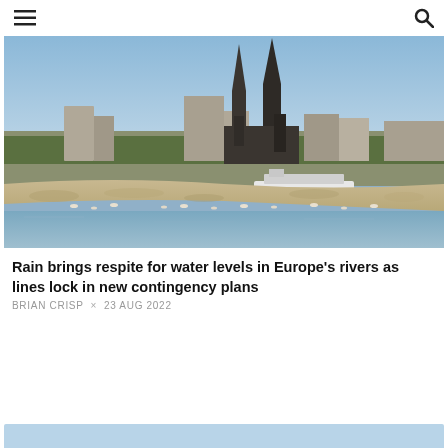≡  🔍
[Figure (photo): Cologne Cathedral on the Rhine riverbank, with low water levels exposing sandy/rocky riverbed in the foreground. Birds visible on the exposed riverbed, a river cruise ship passing in the background.]
Rain brings respite for water levels in Europe's rivers as lines lock in new contingency plans
BRIAN CRISP × 23 AUG 2022